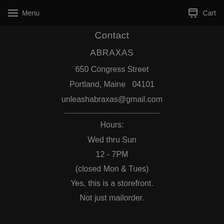Menu   Cart
Contact
ABRAXAS
650 Congress Street
Portland, Maine  04101
unleashabraxas@gmail.com
Hours:
Wed thru Sun
12 - 7PM
(closed Mon & Tues)
Yes, this is a storefront.
Not just mailorder.